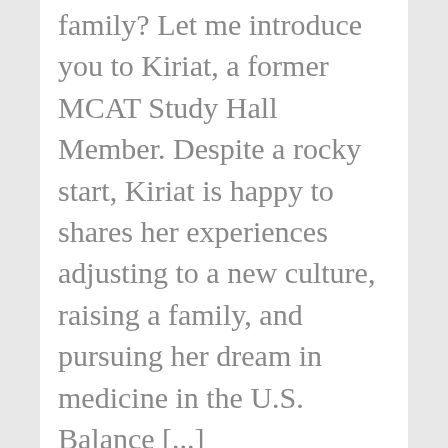family? Let me introduce you to Kiriat, a former MCAT Study Hall Member. Despite a rocky start, Kiriat is happy to shares her experiences adjusting to a new culture, raising a family, and pursuing her dream in medicine in the U.S. Balance [...]
Filed Under: MCAT Exam Feedback
Tagged With: mcat advice, mcat bio, mcat biochemistry, mcat feedback